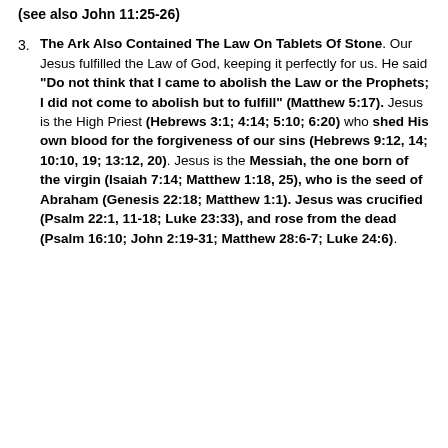(see also John 11:25-26)
3. The Ark Also Contained The Law On Tablets Of Stone. Our Jesus fulfilled the Law of God, keeping it perfectly for us. He said “Do not think that I came to abolish the Law or the Prophets; I did not come to abolish but to fulfill” (Matthew 5:17). Jesus is the High Priest (Hebrews 3:1; 4:14; 5:10; 6:20) who shed His own blood for the forgiveness of our sins (Hebrews 9:12, 14; 10:10, 19; 13:12, 20). Jesus is the Messiah, the one born of the virgin (Isaiah 7:14; Matthew 1:18, 25), who is the seed of Abraham (Genesis 22:18; Matthew 1:1). Jesus was crucified (Psalm 22:1, 11-18; Luke 23:33), and rose from the dead (Psalm 16:10; John 2:19-31; Matthew 28:6-7; Luke 24:6).